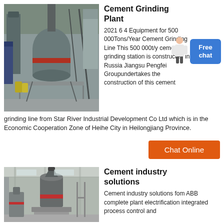[Figure (photo): Industrial cement grinding plant machinery with large vertical mill and steel structure in a factory setting]
Cement Grinding Plant
2021 6 4 Equipment for 500 000Tons/Year Cement Grinding Line This 500 000t/y cement grinding station is constructed in Russia Jiangsu Pengfei Groupundertakes the construction of this cement grinding line from Star River Industrial Development Co Ltd which is in the Economic Cooperation Zone of Heihe City in Heilongjiang Province.
[Figure (illustration): Customer service representative figure with Free chat call-out bubble]
Chat Online
[Figure (photo): Cement industry machinery inside a large industrial hall with vertical mill equipment]
Cement industry solutions
Cement industry solutions fom ABB complete plant electrification integrated process control and